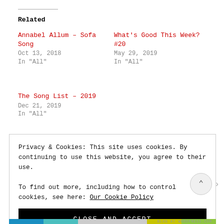Related
Annabel Allum – Sofa Song
Oct 13, 2018
In "All"
What's Good This Week? #20
May 29, 2019
In "All"
The Song List – 2019
Dec 21, 2019
In "All"
Privacy & Cookies: This site uses cookies. By continuing to use this website, you agree to their use.
To find out more, including how to control cookies, see here: Our Cookie Policy
CLOSE AND ACCEPT